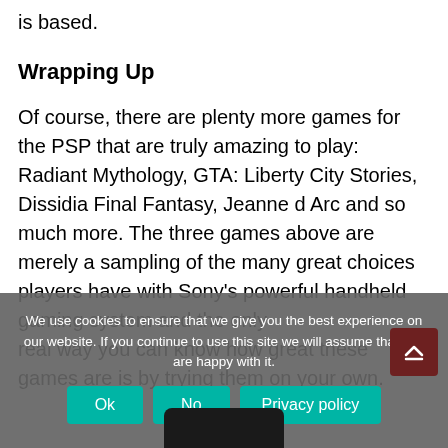is based.
Wrapping Up
Of course, there are plenty more games for the PSP that are truly amazing to play: Radiant Mythology, GTA: Liberty City Stories, Dissidia Final Fantasy, Jeanne d Arc and so much more. The three games above are merely a sampling of the many great choices players have with Sony's powerful handheld gaming system and the only real way you can know how great these games are is by trying them on your own.
We use cookies to ensure that we give you the best experience on our website. If you continue to use this site we will assume that you are happy with it.